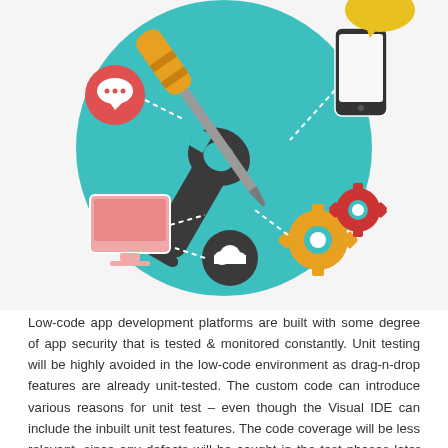[Figure (illustration): Flat-design illustration showing a teal circle with a crossed screwdriver and wrench (tools), surrounded by icons: red speech bubble, pink monitor, dark cloud, yellow gears, red gear, mobile phone with yellow speech bubble. Dashed lines connect the icons.]
Low-code app development platforms are built with some degree of app security that is tested & monitored constantly. Unit testing will be highly avoided in the low-code environment as drag-n-drop features are already unit-tested. The custom code can introduce various reasons for unit test – even though the Visual IDE can include the inbuilt unit test features. The code coverage will be less relevant, since any defects will be caught in the test phases later on.